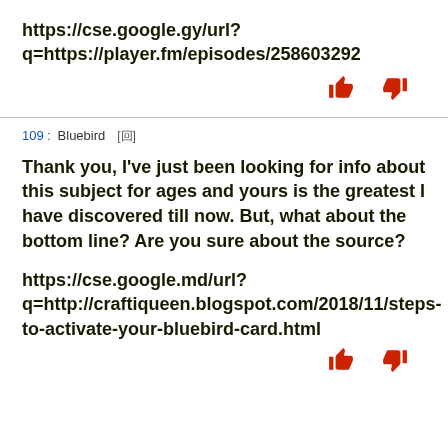https://cse.google.gy/url?q=https://player.fm/episodes/258603292
109 : Bluebird [回]
Thank you, I've just been looking for info about this subject for ages and yours is the greatest I have discovered till now. But, what about the bottom line? Are you sure about the source?
https://cse.google.md/url?q=http://craftiqueen.blogspot.com/2018/11/steps-to-activate-your-bluebird-card.html